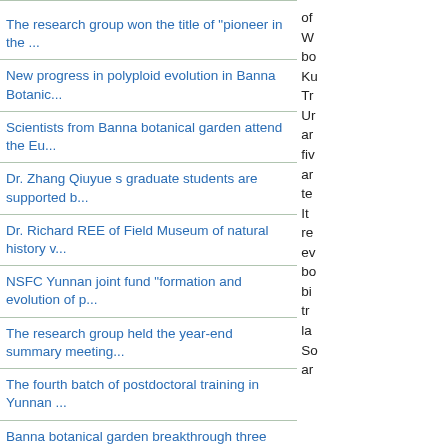The research group won the title of "pioneer in the ...
New progress in polyploid evolution in Banna Botanic...
Scientists from Banna botanical garden attend the Eu...
Dr. Zhang Qiuyue s graduate students are supported b...
Dr. Richard REE of Field Museum of natural history v...
NSFC Yunnan joint fund "formation and evolution of p...
The research group held the year-end summary meeting...
The fourth batch of postdoctoral training in Yunnan ...
Banna botanical garden breakthrough three project te...
PNAs article reveals Hengduanshan s speciation mecha...
of W bo Ku Tr Ur ar fi ar te It re ev bo bi tr la So ar